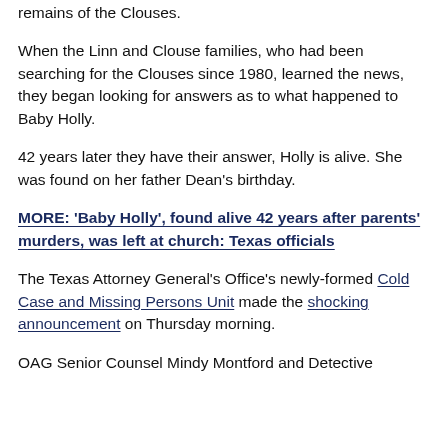remains of the Clouses.
When the Linn and Clouse families, who had been searching for the Clouses since 1980, learned the news, they began looking for answers as to what happened to Baby Holly.
42 years later they have their answer, Holly is alive. She was found on her father Dean’s birthday.
MORE: ‘Baby Holly’, found alive 42 years after parents’ murders, was left at church: Texas officials
The Texas Attorney General’s Office’s newly-formed Cold Case and Missing Persons Unit made the shocking announcement on Thursday morning.
OAG Senior Counsel Mindy Montford and Detective